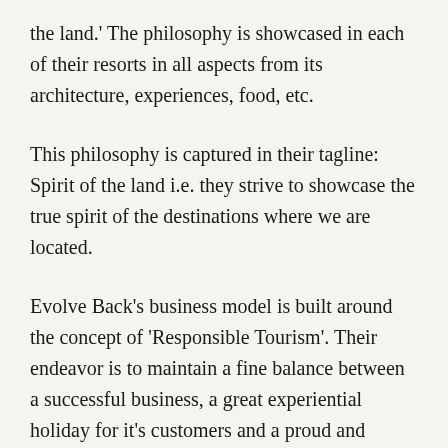the land.' The philosophy is showcased in each of their resorts in all aspects from its architecture, experiences, food, etc.
This philosophy is captured in their tagline: Spirit of the land i.e. they strive to showcase the true spirit of the destinations where we are located.
Evolve Back's business model is built around the concept of 'Responsible Tourism'. Their endeavor is to maintain a fine balance between a successful business, a great experiential holiday for it's customers and a proud and prosperous local community, while